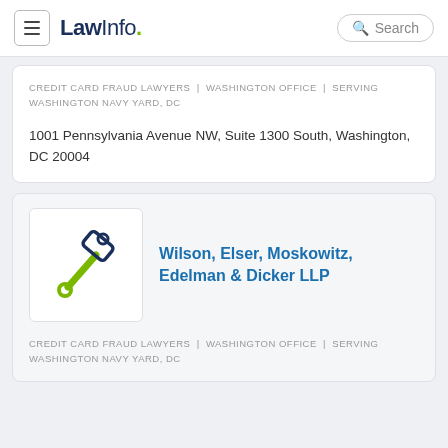LawInfo. | Search
CREDIT CARD FRAUD LAWYERS | WASHINGTON OFFICE | SERVING WASHINGTON NAVY YARD, DC
1001 Pennsylvania Avenue NW, Suite 1300 South, Washington, DC 20004
[Figure (logo): Gavel/mallet icon in green and dark navy outline style]
Wilson, Elser, Moskowitz, Edelman & Dicker LLP
CREDIT CARD FRAUD LAWYERS | WASHINGTON OFFICE | SERVING WASHINGTON NAVY YARD, DC